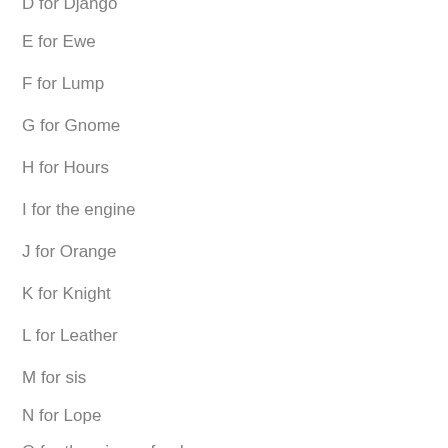D for Django
E for Ewe
F for Lump
G for Gnome
H for Hours
I for the engine
J for Orange
K for Knight
L for Leather
M for sis
N for Lope
O for the wings of a dove